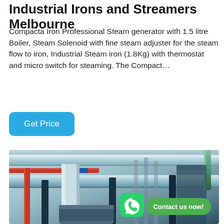Industrial Irons and Streamers Melbourne
Compacta Iron Professional Steam generator with 1.5 litre Boiler, Steam Solenoid with fine steam adjuster for the steam flow to iron, Industrial Steam iron (1.8Kg) with thermostat and micro switch for steaming. The Compact…
Get Price
[Figure (photo): Industrial steam pipes and boiler room equipment, showing large insulated pipes, red and blue colored pipes running along a ceiling/wall in an industrial laundry or steam facility. A WhatsApp contact button overlay is visible with text 'Contact us now!']